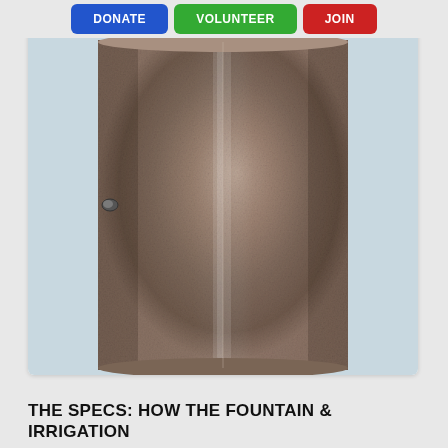DONATE   VOLUNTEER   JOIN
[Figure (photo): Close-up photograph of a cylindrical metal object, likely a stainless steel or galvanized metal pipe or fountain component. The cylinder surface shows a mottled brownish-gray texture with a vertical seam or highlight running down the center. A small protrusion or bolt is visible on the left side. Background is light blue-gray.]
THE SPECS: HOW THE FOUNTAIN & IRRIGATION